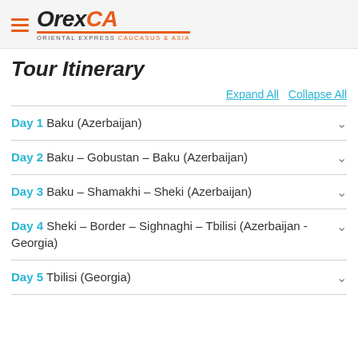OrexCA - Oriental Express Caucasus & Asia
Tour Itinerary
Expand All   Collapse All
Day 1 Baku (Azerbaijan)
Day 2 Baku – Gobustan – Baku (Azerbaijan)
Day 3 Baku – Shamakhi – Sheki (Azerbaijan)
Day 4 Sheki – Border – Sighnaghi – Tbilisi (Azerbaijan - Georgia)
Day 5 Tbilisi (Georgia)